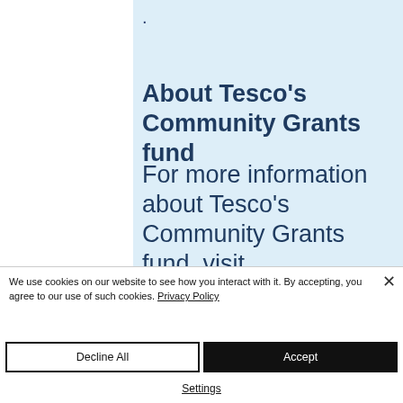.
About Tesco's Community Grants fund
For more information about Tesco's Community Grants fund, visit www.tesco.com/communitygrants
We use cookies on our website to see how you interact with it. By accepting, you agree to our use of such cookies. Privacy Policy
Decline All
Accept
Settings